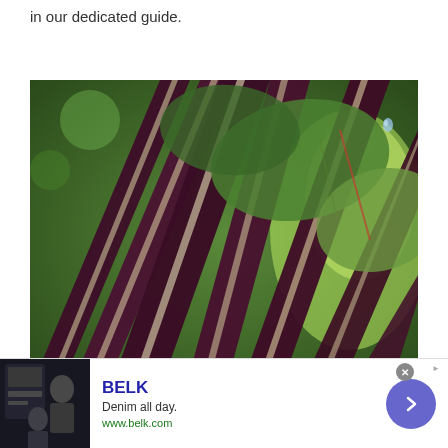in our dedicated guide.
[Figure (photo): Close-up photograph of rhubarb or chard plant stalks showing deep purple/red stems with white/cream striping, green leaves in background, bokeh garden background]
[Figure (infographic): Advertisement banner for BELK featuring: brand name BELK in dark blue bold, tagline 'Denim all day.', URL 'www.belk.com' in green, small lifestyle image of woman in denim on left, blue circular arrow button on right, close button and AdChoices icon top right]